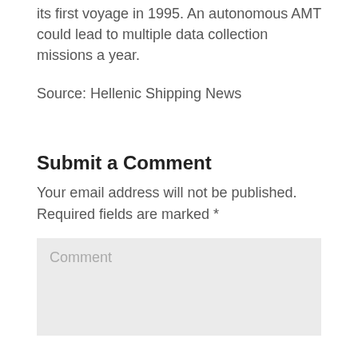its first voyage in 1995. An autonomous AMT could lead to multiple data collection missions a year.
Source: Hellenic Shipping News
Submit a Comment
Your email address will not be published. Required fields are marked *
Comment